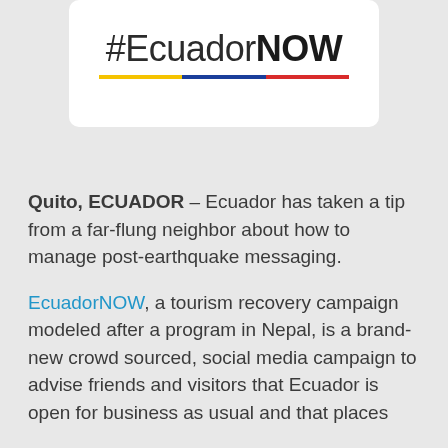[Figure (logo): #EcuadorNOW logo with yellow, blue, and red underline bars on a white card]
Quito, ECUADOR – Ecuador has taken a tip from a far-flung neighbor about how to manage post-earthquake messaging.
EcuadorNOW, a tourism recovery campaign modeled after a program in Nepal, is a brand-new crowd sourced, social media campaign to advise friends and visitors that Ecuador is open for business as usual and that places